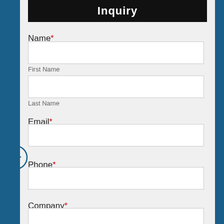Inquiry
Name*
First Name
Last Name
Email*
Phone*
Company*